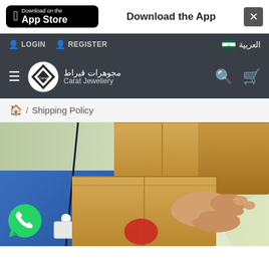[Figure (screenshot): App Store download banner with black App Store button, 'Download the App' text, and close button]
LOGIN  REGISTER  العربية
[Figure (logo): Carat Jewellery logo with Arabic text مجوهرات قيراط and navigation icons]
Home / Shipping Policy
[Figure (photo): Delivery person in blue shirt handing cardboard packages to a recipient, with WhatsApp icon overlay in bottom left]